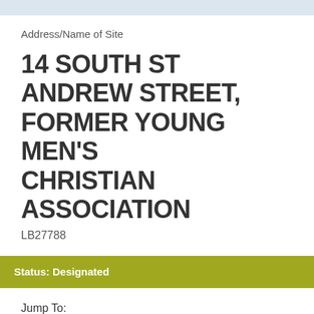Address/Name of Site
14 SOUTH ST ANDREW STREET, FORMER YOUNG MEN'S CHRISTIAN ASSOCIATION
LB27788
Status: Designated
Jump To:
Documents
Summary